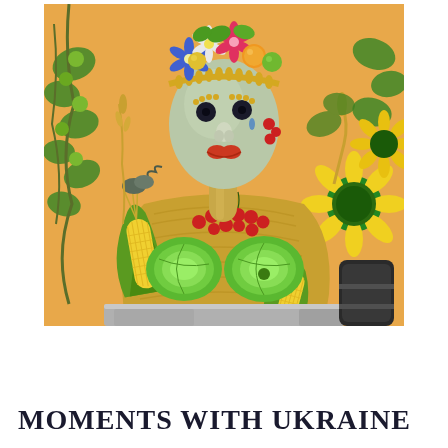[Figure (illustration): A colorful surrealist painting depicting a female figure composed entirely of vegetables, fruits, and plants. The figure wears a headdress of flowers, fruits, and greenery. The face is pale greenish-white with berries as eyes and cherries/strawberries as lips. A necklace of red cherries adorns the chest area, which is formed by two green cabbages. The arms/shoulders are composed of corn cobs with green husks. Sunflowers appear on the right side, climbing vines and leaves frame the left and top. The background is warm amber/orange. The overall composition is reminiscent of Arcimboldo style. The figure is seated at what appears to be a stone ledge.]
MOMENTS WITH UKRAINE